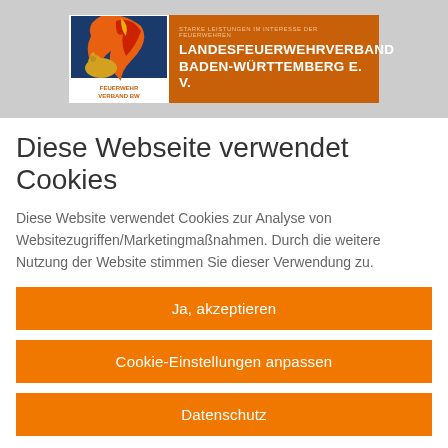[Figure (logo): Landesfeuerwehrverband Baden-Württemberg e.V. logo with orange background, flame graphic, lion emblem, and tagline 'Starke Leistungen im Interesse der Feuerwehren']
Diese Webseite verwendet Cookies
Diese Website verwendet Cookies zur Analyse von Websitezugriffen/Marketingmaßnahmen. Durch die weitere Nutzung der Website stimmen Sie dieser Verwendung zu.
Ja, akzeptieren
Cookie-Einstellungen anpassen
Datenschutz